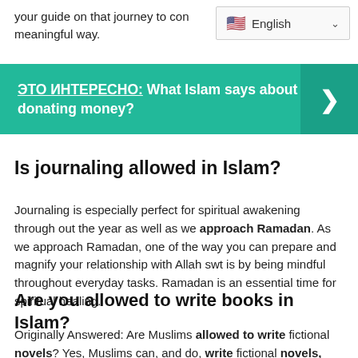your guide on that journey to con meaningful way.
[Figure (screenshot): Language selector dropdown showing English with US flag]
[Figure (infographic): Teal promotional banner with text: ЭТО ИНТЕРЕСНО: What Islam says about donating money? with right arrow]
Is journaling allowed in Islam?
Journaling is especially perfect for spiritual awakening through out the year as well as we approach Ramadan. As we approach Ramadan, one of the way you can prepare and magnify your relationship with Allah swt is by being mindful throughout everyday tasks. Ramadan is an essential time for spiritual healing.
Are you allowed to write books in Islam?
Originally Answered: Are Muslims allowed to write fictional novels? Yes, Muslims can, and do, write fictional novels,